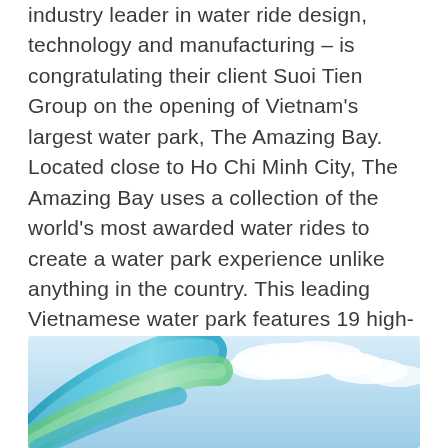industry leader in water ride design, technology and manufacturing – is congratulating their client Suoi Tien Group on the opening of Vietnam's largest water park, The Amazing Bay. Located close to Ho Chi Minh City, The Amazing Bay uses a collection of the world's most awarded water rides to create a water park experience unlike anything in the country. This leading Vietnamese water park features 19 high-performance water rides supplied exclusively by ProSlide, making it the country's first 100% ProSlide water park, along with debuting the first ProSlide SURF in Asia.
[Figure (photo): Photo showing colorful water park slide tubes (blue/teal) against a bright sky with clouds]